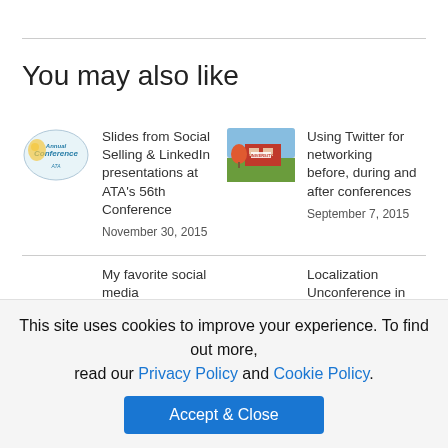You may also like
Slides from Social Selling & LinkedIn presentations at ATA's 56th Conference
November 30, 2015
Using Twitter for networking before, during and after conferences
September 7, 2015
My favorite social media management tools
Localization Unconference in Toronto 2015
April 24, 2015
This site uses cookies to improve your experience. To find out more, read our Privacy Policy and Cookie Policy.